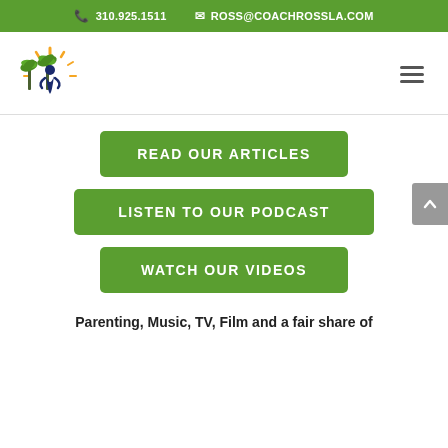📞 310.925.1511  ✉ ROSS@COACHROSSLA.COM
[Figure (logo): CoachRossLA logo: palm trees and a seated figure with sunburst, in green, dark blue, and orange]
READ OUR ARTICLES
LISTEN TO OUR PODCAST
WATCH OUR VIDEOS
Parenting, Music, TV, Film and a fair share of